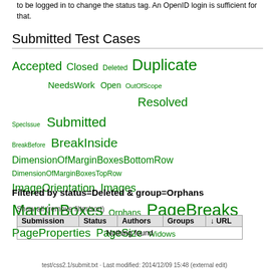to be logged in to change the status tag. An OpenID login is sufficient for that.
Submitted Test Cases
[Figure (other): Tag cloud of test case categories and statuses in green text with varying font sizes: Accepted, Closed, Deleted, Duplicate, NeedsWork, Open, OutOfScope, Resolved, SpecIssue, Submitted, BreakBefore, BreakInside, DimensionOfMarginBoxesBottomRow, DimensionOfMarginBoxesTopRow, ImageOrientation, Images, MarginBoxes, Orphans, PageBreaks, PageProperties, PageSize, Widows]
Filtered by status=Deleted & group=Orphans
Show all (remove filter/sort)
| Submission | Status | Authors | Groups | ↓ URL |
| --- | --- | --- | --- | --- |
| Nothing found |  |  |  |  |
test/css2.1/submit.txt · Last modified: 2014/12/09 15:48 (external edit)